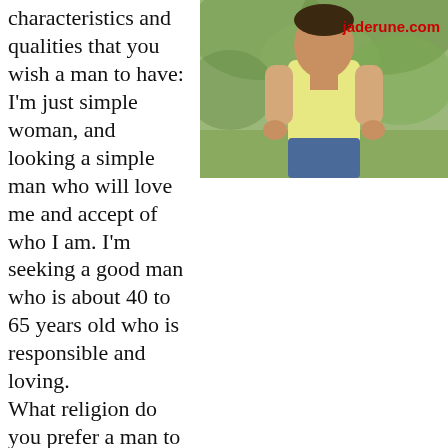characteristics and qualities that you wish a man to have: I'm just simple woman, and looking a simple man who will love me and accept of who I am. I'm seeking a good man who is about 40 to 65 years old who is responsible and loving. What religion do you prefer a man to be? Christian Do you prefer a nonsmoking man? Maybe Do you prefer a nondrinking man? Yes Your Comments: I'm hoping that thru this website I can find my future husband who will love me for the rest of my life. I'm praying that
[Figure (photo): Photo of a person wearing a light yellow t-shirt outdoors with greenery in background. Watermark 'jaderune.com' in red.]